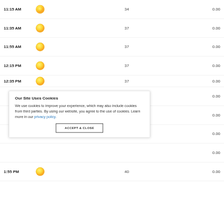| Time | Condition | Value | Precip |
| --- | --- | --- | --- |
| 11:15 AM | [sun] | 34 | 0.00 |
| 11:35 AM | [sun] | 37 | 0.00 |
| 11:55 AM | [sun] | 37 | 0.00 |
| 12:15 PM | [sun] | 37 | 0.00 |
| 12:35 PM | [sun] | 37 | 0.00 |
| [hidden] |  |  | 0.00 |
| [hidden] |  |  | 0.00 |
| [hidden] |  |  | 0.00 |
| 1:55 PM | [sun] | 40 | 0.00 |
Our Site Uses Cookies
We use cookies to improve your experience, which may also include cookies from third parties. By using our website, you agree to the use of cookies. Learn more in our privacy policy.
ACCEPT & CLOSE